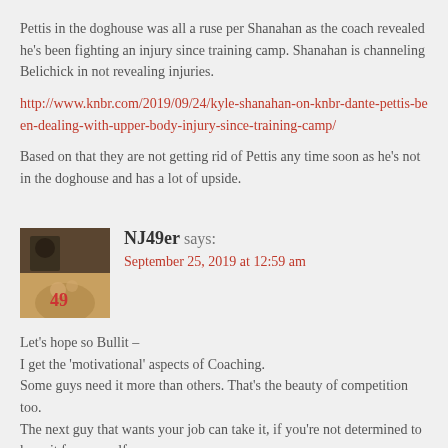Pettis in the doghouse was all a ruse per Shanahan as the coach revealed he's been fighting an injury since training camp. Shanahan is channeling Belichick in not revealing injuries.
http://www.knbr.com/2019/09/24/kyle-shanahan-on-knbr-dante-pettis-been-dealing-with-upper-body-injury-since-training-camp/
Based on that they are not getting rid of Pettis any time soon as he's not in the doghouse and has a lot of upside.
[Figure (photo): Avatar photo of commenter NJ49er - appears to show a person in dark clothing]
NJ49er says: September 25, 2019 at 12:59 am
Let's hope so Bullit –
I get the 'motivational' aspects of Coaching.
Some guys need it more than others. That's the beauty of competition too.
The next guy that wants your job can take it, if you're not determined to keep it for yourself.